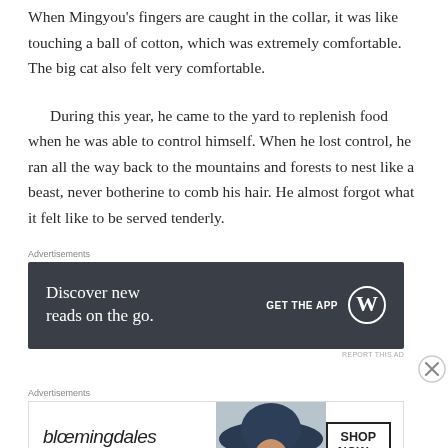When Mingyou's fingers are caught in the collar, it was like touching a ball of cotton, which was extremely comfortable. The big cat also felt very comfortable.
During this year, he came to the yard to replenish food when he was able to control himself. When he lost control, he ran all the way back to the mountains and forests to nest like a beast, never botherine to comb his hair. He almost forgot what it felt like to be served tenderly.
Advertisements
[Figure (screenshot): WordPress app advertisement: dark gray banner reading 'Discover new reads on the go.' with 'GET THE APP' and WordPress logo on the right.]
REPORT THIS AD
Advertisements
[Figure (screenshot): Bloomingdale's advertisement: white banner with bloomingdales logo, 'View Today's Top Deals!' text, image of woman in large hat, and 'SHOP NOW >' button.]
REPORT THIS AD